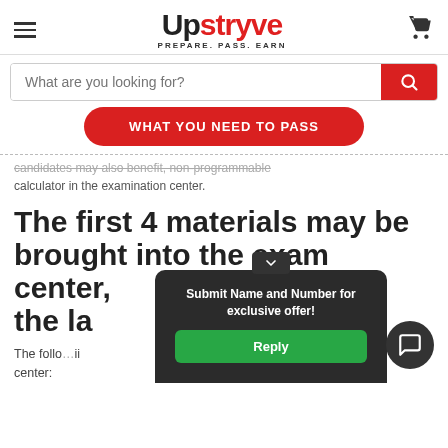[Figure (logo): Upstryve logo with hamburger menu and cart icon. Logo text reads 'Upstryve' with tagline 'PREPARE. PASS. EARN']
What are you looking for?
WHAT YOU NEED TO PASS
...candidates may also benefit, non-programmable calculator in the examination center.
The first 4 materials may be brought into the exam center, the la
The follow...ii center:
Submit Name and Number for exclusive offer!
Reply